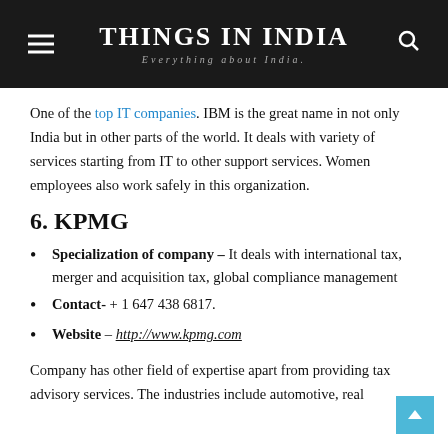THINGS IN INDIA — Everything about India.
One of the top IT companies. IBM is the great name in not only India but in other parts of the world. It deals with variety of services starting from IT to other support services. Women employees also work safely in this organization.
6. KPMG
Specialization of company – It deals with international tax, merger and acquisition tax, global compliance management
Contact- + 1 647 438 6817.
Website – http://www.kpmg.com
Company has other field of expertise apart from providing tax advisory services. The industries include automotive, real